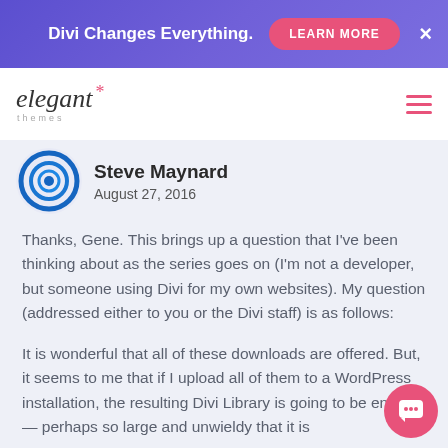Divi Changes Everything. LEARN MORE ×
[Figure (logo): Elegant Themes logo with italic text and asterisk star in pink, with 'themes' subtitle]
Steve Maynard
August 27, 2016
Thanks, Gene. This brings up a question that I've been thinking about as the series goes on (I'm not a developer, but someone using Divi for my own websites). My question (addressed either to you or the Divi staff) is as follows:
It is wonderful that all of these downloads are offered. But, it seems to me that if I upload all of them to a WordPress installation, the resulting Divi Library is going to be enorm— perhaps so large and unwieldy that it is